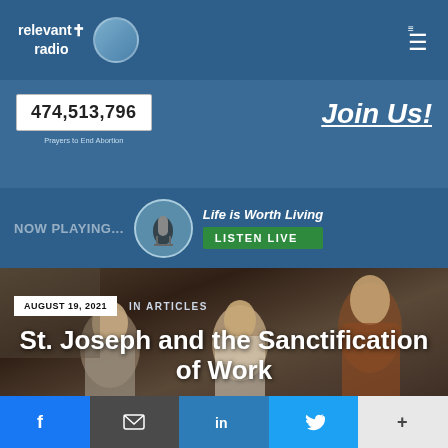relevant radio — navigation bar with logo and menu
474,513,796
Prayers to End Abortion
Join Us!
NOW PLAYING... Life is Worth Living LISTEN LIVE
[Figure (photo): Religious painting showing biblical figures including St. Joseph, Mary, and Jesus in a carpentry workshop setting]
AUGUST 19, 2021
IN ARTICLES
St. Joseph and the Sanctification of Work
by John Hanretty
Social share buttons: Facebook, Email, LinkedIn, Twitter, More